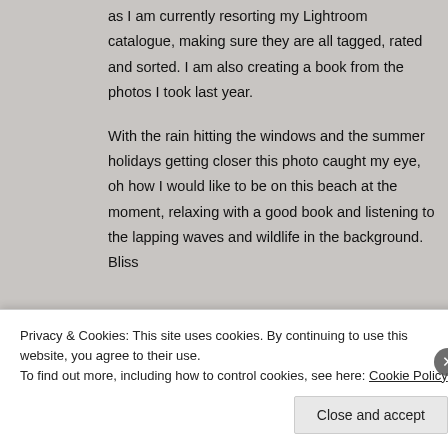as I am currently resorting my Lightroom catalogue, making sure they are all tagged, rated and sorted. I am also creating a book from the photos I took last year.
With the rain hitting the windows and the summer holidays getting closer this photo caught my eye, oh how I would like to be on this beach at the moment, relaxing with a good book and listening to the lapping waves and wildlife in the background. Bliss
11
Monday
Macro Monday:
Privacy & Cookies: This site uses cookies. By continuing to use this website, you agree to their use.
To find out more, including how to control cookies, see here: Cookie Policy
Close and accept